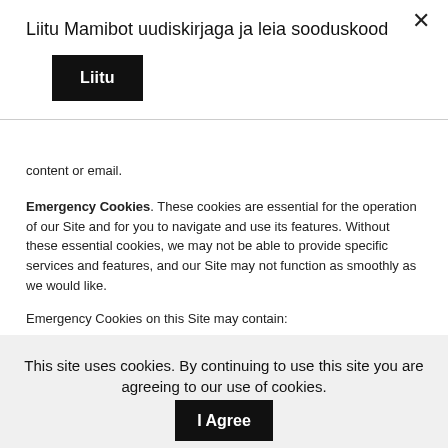Liitu Mamibot uudiskirjaga ja leia sooduskood
Liitu
content or email.
Emergency Cookies. These cookies are essential for the operation of our Site and for you to navigate and use its features. Without these essential cookies, we may not be able to provide specific services and features, and our Site may not function as smoothly as we would like.
Emergency Cookies on this Site may contain:
| Cookie |
| --- |
This site uses cookies. By continuing to use this site you are agreeing to our use of cookies.
I Agree